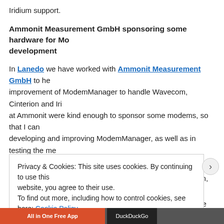Iridium support.
Ammonit Measurement GmbH sponsoring some hardware for Mo... development
In Lanedo we have worked with Ammonit Measurement GmbH to he... improvement of ModemManager to handle Wavecom, Cinterion and Iri... at Ammonit were kind enough to sponsor some modems, so that I can... developing and improving ModemManager, as well as in testing the me... releases (Dan will probably be happy for that):
Sierra Wireless Fastrack Xtend FXT009 (GPRS modem, USB, handle...
Cinterion TC63i (GPRS modem, RS232, handled by the ‘cinterion’ plug...
So, thanks Ammonit!
Privacy & Cookies: This site uses cookies. By continuing to use this website, you agree to their use.
To find out more, including how to control cookies, see here: Cookie Policy
Close and accept